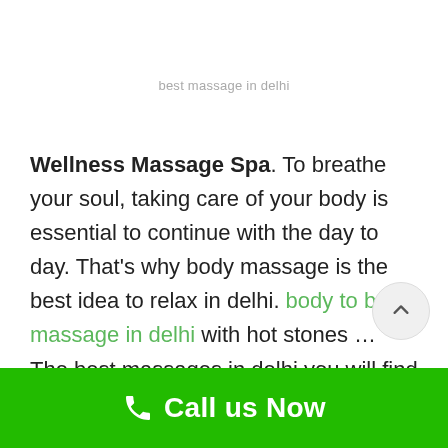best massage in delhi
Wellness Massage Spa. To breathe your soul, taking care of your body is essential to continue with the day to day. That's why body massage is the best idea to relax in delhi. body to body massage in delhi with hot stones … The best massages in delhi you will find here.
Body Spa in Lajpat Nagar. If you are looking for
[Figure (other): Scroll to top button, circular grey button with upward chevron arrow]
Call us Now